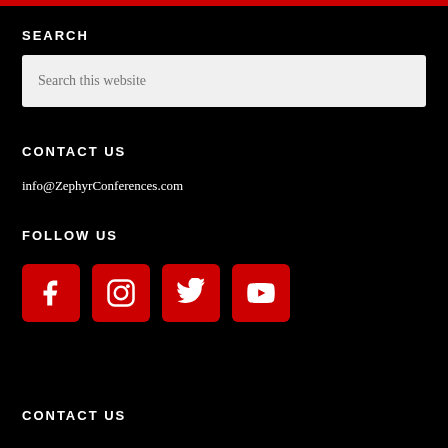SEARCH
Search this website
CONTACT US
info@ZephyrConferences.com
FOLLOW US
[Figure (other): Social media icons: Facebook, Instagram, Twitter, YouTube — red rounded square buttons with white icons]
CONTACT US